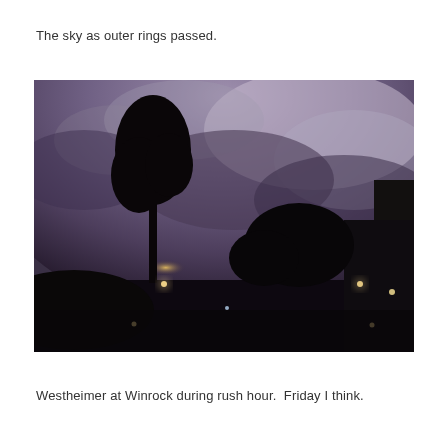The sky as outer rings passed.
[Figure (photo): A dark twilight/stormy sky photograph taken at street level. Tree silhouettes dominate the left side, with dark storm clouds mixed with lighter purple-gray clouds. Small bright lights visible at street level (street lamps or vehicle lights). The horizon shows faint orange-yellow glow behind trees. Scene is very dark overall with foreground completely silhouetted.]
Westheimer at Winrock during rush hour.  Friday I think.